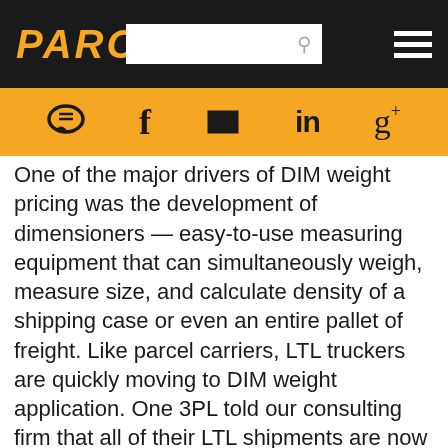PARCEL
[Figure (logo): Social media icons bar with comment, facebook, twitter, linkedin, google+ icons on orange background]
One of the major drivers of DIM weight pricing was the development of dimensioners — easy-to-use measuring equipment that can simultaneously weigh, measure size, and calculate density of a shipping case or even an entire pallet of freight. Like parcel carriers, LTL truckers are quickly moving to DIM weight application. One 3PL told our consulting firm that all of their LTL shipments are now getting DIM weight pricing. Most LTL carriers have invested in pallet dimensioners; even if the carrier has yet applying DIM weight pricing, the equipment is